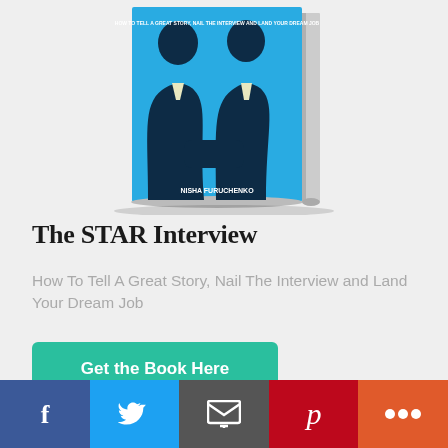[Figure (photo): Book cover of 'The STAR Interview' showing two dark silhouettes of people in suits facing each other against a bright blue background, styled as a 3D book with a white spine. Author name at bottom.]
The STAR Interview
How To Tell A Great Story, Nail The Interview and Land Your Dream Job
Get the Book Here